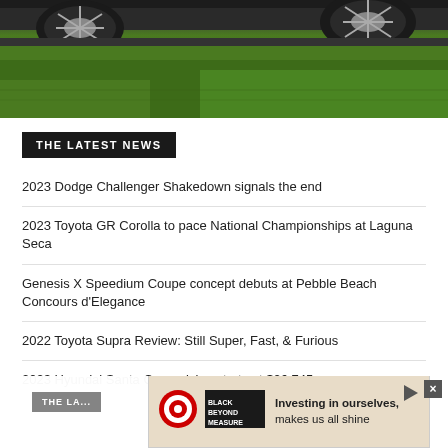[Figure (photo): Car wheels and undercarriage visible against a green grass background, partial view of a dark-colored vehicle]
THE LATEST NEWS
2023 Dodge Challenger Shakedown signals the end
2023 Toyota GR Corolla to pace National Championships at Laguna Seca
Genesis X Speedium Coupe concept debuts at Pebble Beach Concours d'Elegance
2022 Toyota Supra Review: Still Super, Fast, & Furious
2023 Hyundai Santa Cruz pricing starts at $26,745
[Figure (screenshot): Advertisement banner: Target Black Beyond Measure — Investing in ourselves, makes us all shine]